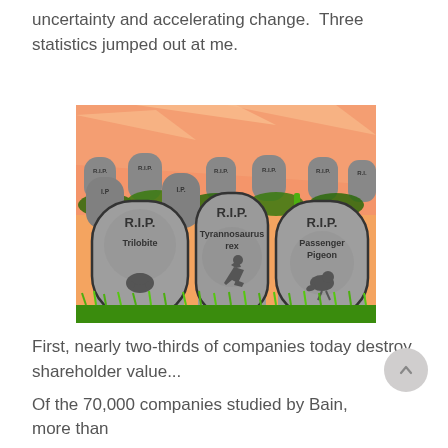uncertainty and accelerating change. Three statistics jumped out at me.
[Figure (illustration): Cartoon illustration of multiple gray tombstones in a cemetery at sunset with green grass at base. Three foreground tombstones each read 'R.I.P.' and show: Trilobite (with trilobite silhouette), Tyrannosaurus rex (with T-rex silhouette), Passenger Pigeon (with pigeon silhouette). Background shows more tombstones and an orange sky.]
First, nearly two-thirds of companies today destroy shareholder value...
Of the 70,000 companies studied by Bain, more than